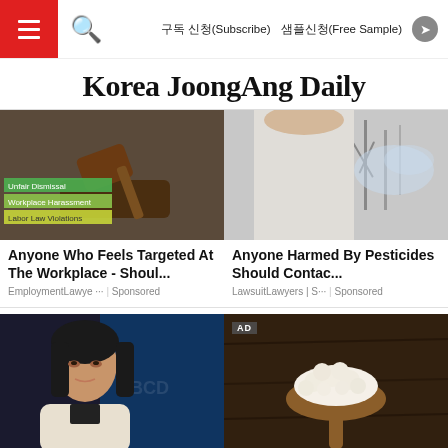구독 신청(Subscribe)  샘플신청(Free Sample)
Korea JoongAng Daily
[Figure (photo): Photo of a judge's gavel with text overlays: Unfair Dismissal, Workplace Harassment, Labor Law Violations]
[Figure (photo): Photo of a person outdoors near bare winter trees, possibly being sprayed with pesticides]
Anyone Who Feels Targeted At The Workplace - Shoul...
Anyone Harmed By Pesticides Should Contac...
EmploymentLawye ··· | Sponsored
LawsuitLawyers | S··· | Sponsored
[Figure (photo): Photo of a Korean woman, Oh Yoon-ha, at a press event]
[Figure (photo): AD photo of cauliflower on a wooden spoon on a dark wooden surface]
Oh Yoon-ha, husband
Those Little Known Eczema